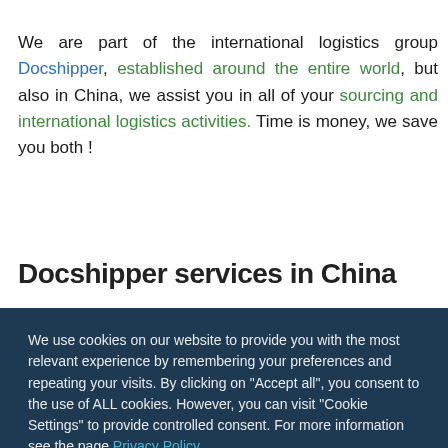We are part of the international logistics group Docshipper, established around the entire world, but also in China, we assist you in all of your sourcing and international logistics activities. Time is money, we save you both !
Docshipper services in China
We use cookies on our website to provide you with the most relevant experience by remembering your preferences and repeating your visits. By clicking on "Accept all", you consent to the use of ALL cookies. However, you can visit "Cookie Settings" to provide controlled consent. For more information see the page Privacy Policy.